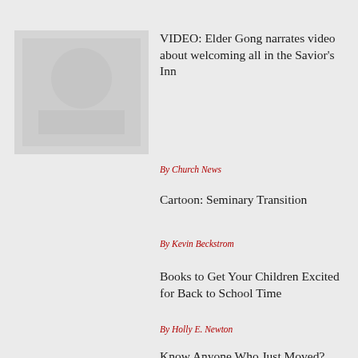[Figure (photo): Thumbnail image placeholder, grayscale, top-left area]
VIDEO: Elder Gong narrates video about welcoming all in the Savior’s Inn
By Church News
Cartoon: Seminary Transition
By Kevin Beckstrom
Books to Get Your Children Excited for Back to School Time
By Holly E. Newton
Know Anyone Who Just Moved?
By Joni Hilton